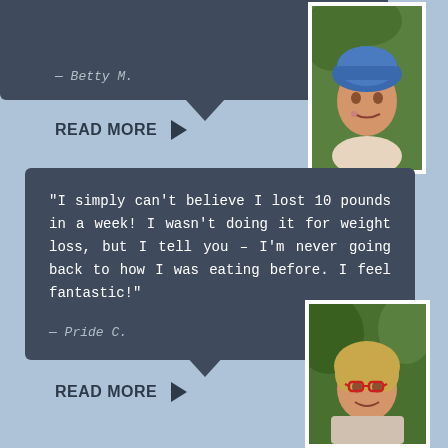— Betty M.
[Figure (photo): Portrait photo of a woman wearing a blue knit hat, smiling, with flowers in background]
READ MORE ▶
"I simply can't believe I lost 10 pounds in a week! I wasn't doing it for weight loss, but I tell you – I'm never going back to how I was eating before. I feel fantastic!"
— Pride C.
[Figure (photo): Portrait photo of a woman with short blonde hair and red glasses, smiling, with green foliage background]
READ MORE ▶